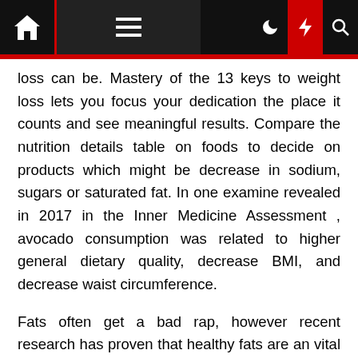Navigation bar with home, menu, dark mode, lightning, and search icons
loss can be. Mastery of the 13 keys to weight loss lets you focus your dedication the place it counts and see meaningful results. Compare the nutrition details table on foods to decide on products which might be decrease in sodium, sugars or saturated fat. In one examine revealed in 2017 in the Inner Medicine Assessment , avocado consumption was related to higher general dietary quality, decrease BMI, and decrease waist circumference.
Fats often get a bad rap, however recent research has proven that healthy fats are an vital a part of a healthy food regimen. A lower rate of burning calories can also make it easier to regain weight after a extra normal eating regimen is resumed. Some types can increase the quantity of vitality that the individual harvests from food , resulting in fat